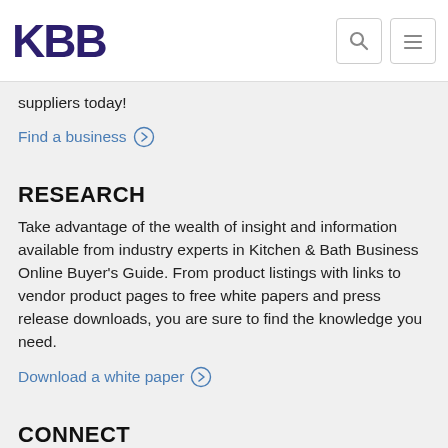KBB
suppliers today!
Find a business
RESEARCH
Take advantage of the wealth of insight and information available from industry experts in Kitchen & Bath Business Online Buyer's Guide. From product listings with links to vendor product pages to free white papers and press release downloads, you are sure to find the knowledge you need.
Download a white paper
CONNECT
Get connected to the latest industry news and